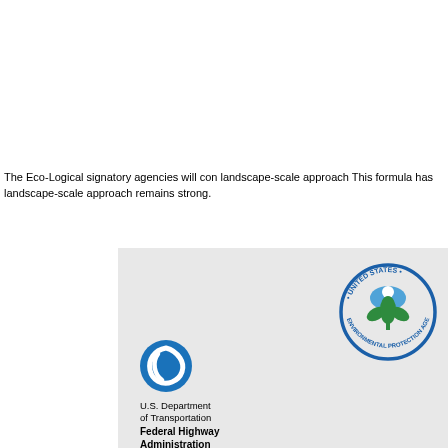The Presidential Memorandum on M Investment, released in November 2 objectives of the Presidential Memo
The 2008 Mitigation Rule Retrosped retrospective shows the effectivenes resources.
The Eco-Logical signatory agencies will con landscape-scale approach This formula has landscape-scale approach remains strong.
[Figure (logo): United States Environmental Protection Agency circular seal logo with green plant/flower and blue globe imagery]
[Figure (logo): U.S. Department of Transportation Federal Highway Administration logo — blue swirl icon with text below reading 'U.S. Department of Transportation Federal Highway Administration']